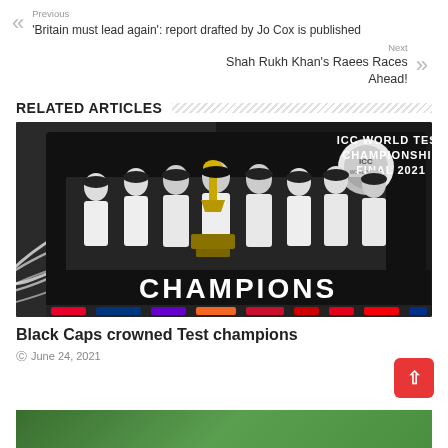Previous
'Britain must lead again': report drafted by Jo Cox is published
Next
Shah Rukh Khan's Raees Races Ahead!
RELATED ARTICLES
[Figure (photo): New Zealand cricket team celebrating the ICC World Test Championship Final 2021, holding trophy on a stage with 'CHAMPIONS' written on the front board and sponsor logos at the bottom.]
Black Caps crowned Test champions
June 24, 2021